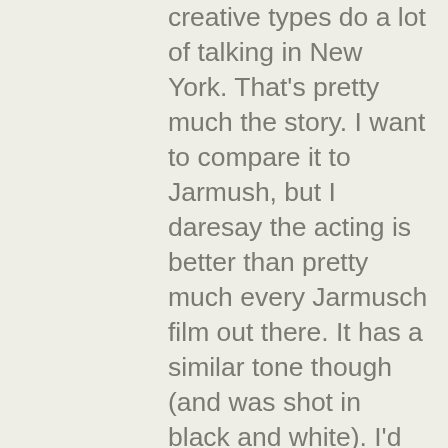creative types do a lot of talking in New York. That's pretty much the story. I want to compare it to Jarmush, but I daresay the acting is better than pretty much every Jarmusch film out there. It has a similar tone though (and was shot in black and white). I'd also compare it to Cassavetes, though there's much less drama here than in most Cassavetes films. But these two are clearly influences for Bujalski, though the film is all his own. If I had to classify the film I'd say it's a beat film. It's about connections between people, both random and lasting, it's about creativity, and community, and love and respect. I haven't seen Bujalski's first film, Funny Ha-Ha, but I have heard